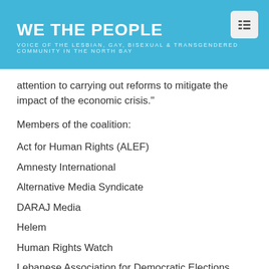WE THE PEOPLE — VOICE OF THE LESBIAN, GAY, BISEXUAL & TRANSGENDERED COMMUNITY IN THE NORTH BAY
attention to carrying out reforms to mitigate the impact of the economic crisis."
Members of the coalition:
Act for Human Rights (ALEF)
Amnesty International
Alternative Media Syndicate
DARAJ Media
Helem
Human Rights Watch
Lebanese Association for Democratic Elections (LADE)
Legal Agenda
Maharat Foundation
Media Association for Peace (MAP)
Samir Kassir Foundation